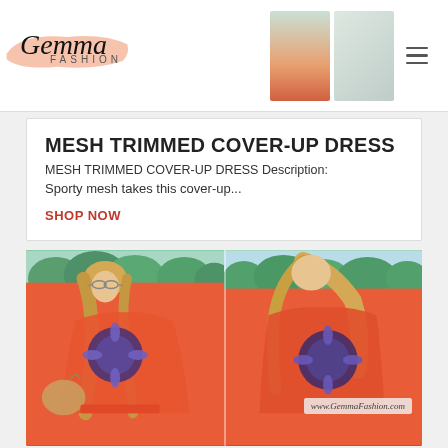[Figure (logo): Gemma Fashion logo with cursive 'Gemma' in large italic text, 'FASHION' in small caps below, on a peach/salmon brush stroke background]
[Figure (photo): Two small product/model photos in the header top right]
MESH TRIMMED COVER-UP DRESS
MESH TRIMMED COVER-UP DRESS Description:
Sporty mesh takes this cover-up...
SHOP NOW
[Figure (photo): Two side-by-side photos of a blonde woman wearing a coral/orange kaftan-style cover-up dress with dark floral/medallion embroidery. Left photo shows front view, right shows back view. Outdoor beach setting with green tropical trees. Website watermark: www.GemmaFashion.com]